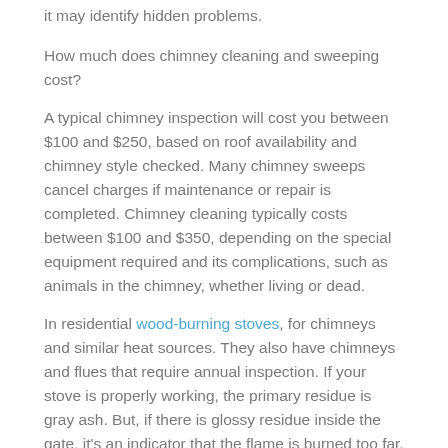it may identify hidden problems.
How much does chimney cleaning and sweeping cost?
A typical chimney inspection will cost you between $100 and $250, based on roof availability and chimney style checked. Many chimney sweeps cancel charges if maintenance or repair is completed. Chimney cleaning typically costs between $100 and $350, depending on the special equipment required and its complications, such as animals in the chimney, whether living or dead.
In residential wood-burning stoves, for chimneys and similar heat sources. They also have chimneys and flues that require annual inspection. If your stove is properly working, the primary residue is gray ash. But, if there is glossy residue inside the gate, it's an indicator that the flame is burned too far.
Low-burning fires raise creosote buildup on the